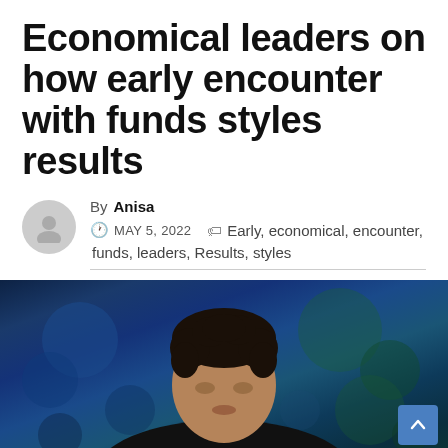Economical leaders on how early encounter with funds styles results
By Anisa
MAY 5, 2022
Early, economical, encounter, funds, leaders, Results, styles
[Figure (photo): Photo of a man with dark curly hair wearing a dark jacket, speaking or being interviewed, with a blurred blue and green bokeh background]